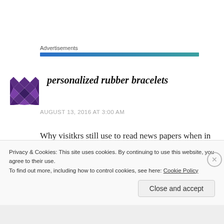Advertisements
personalized rubber bracelets
AUGUST 13, 2016 AT 3:00 AM
Why visitkrs still use to read news papers when in this technological world everything is presented on net?
Privacy & Cookies: This site uses cookies. By continuing to use this website, you agree to their use.
To find out more, including how to control cookies, see here: Cookie Policy
Close and accept